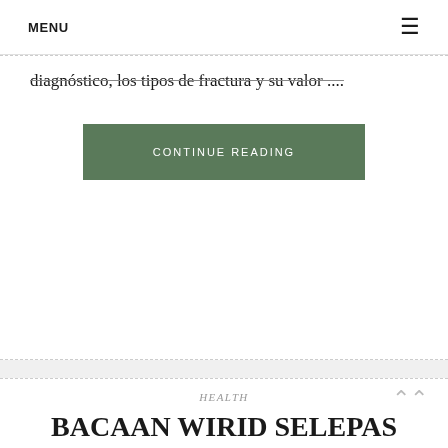MENU ☰
diagnóstico, los tipos de fractura y su valor ....
CONTINUE READING
HEALTH
BACAAN WIRID SELEPAS SOLAT PPT